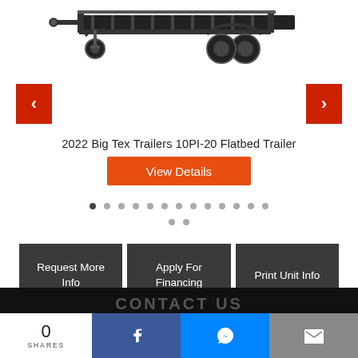[Figure (photo): Flatbed trailer product image — 2022 Big Tex Trailers 10PI-20 Flatbed Trailer, black, shown from side with dual axle wheels]
2022 Big Tex Trailers 10PI-20 Flatbed Trailer
View Details
Request More Info
Apply For Financing
Print Unit Info
CONTACT US
0
SHARES